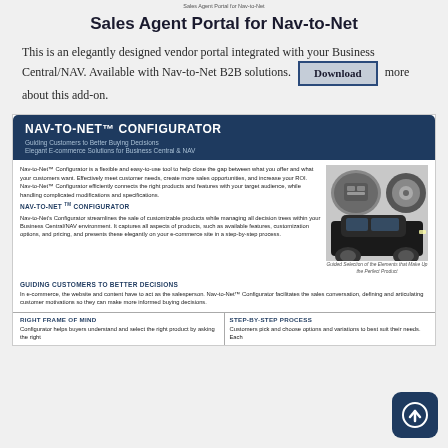Sales Agent Portal for Nav-to-Net
Sales Agent Portal for Nav-to-Net
This is an elegantly designed vendor portal integrated with your Business Central/NAV. Available with Nav-to-Net B2B solutions. Learn more about this add-on.
[Figure (screenshot): Nav-to-Net Configurator product card with header, car images, description text, and two-column section showing Right Frame of Mind and Step-by-Step Process]
Guided Selection of the Elements that Make Up the Perfect Product